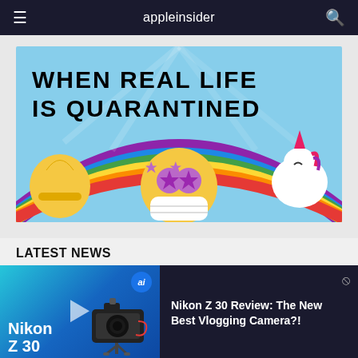appleinsider
[Figure (illustration): Colorful illustration with text 'WHEN REAL LIFE IS QUARANTINED' on a rainbow background with emoji characters including a thumbs up, a star-eyes emoji with a face mask, and a unicorn]
LATEST NEWS
[Figure (screenshot): Nikon Z 30 camera product video thumbnail with camera on tripod and 'Nikon Z 30' text]
Nikon Z 30 Review: The New Best Vlogging Camera?!